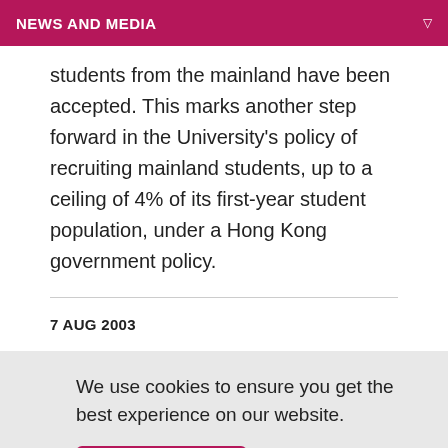NEWS AND MEDIA
students from the mainland have been accepted. This marks another step forward in the University's policy of recruiting mainland students, up to a ceiling of 4% of its first-year student population, under a Hong Kong government policy.
7 AUG 2003
We use cookies to ensure you get the best experience on our website. OK, I agree